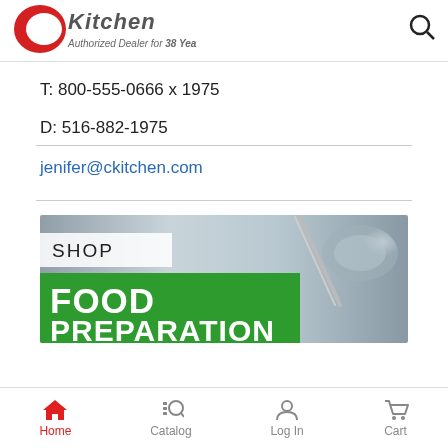[Figure (logo): CKitchen logo — red C with 'Kitchen' in metallic stylized text, 'Authorized Dealer for 38 Years' tagline below]
T: 800-555-0666 x 1975
D: 516-882-1975
jenifer@ckitchen.com
[Figure (photo): Banner image showing blurred stainless steel kitchen background with a whisk/tool visible. Overlaid with white 'SHOP' box and green band reading 'FOOD PREPARATION']
Home  Catalog  Log In  Cart